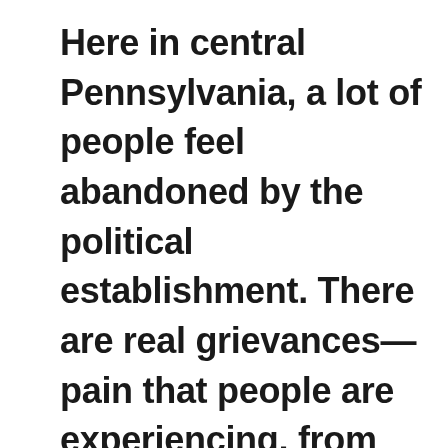Here in central Pennsylvania, a lot of people feel abandoned by the political establishment. There are real grievances—pain that people are experiencing, from unemployment to the opioid epidemic. Trump taps into that. The optics of an irreverent